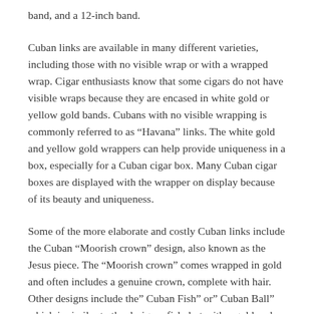band, and a 12-inch band.
Cuban links are available in many different varieties, including those with no visible wrap or with a wrapped wrap. Cigar enthusiasts know that some cigars do not have visible wraps because they are encased in white gold or yellow gold bands. Cubans with no visible wrapping is commonly referred to as “Havana” links. The white gold and yellow gold wrappers can help provide uniqueness in a box, especially for a Cuban cigar box. Many Cuban cigar boxes are displayed with the wrapper on display because of its beauty and uniqueness.
Some of the more elaborate and costly Cuban links include the Cuban “Moorish crown” design, also known as the Jesus piece. The “Moorish crown” comes wrapped in gold and often includes a genuine crown, complete with hair. Other designs include the” Cuban Fish” or” Cuban Ball” which is similar to the designer fish, but with a gold and green ribbon